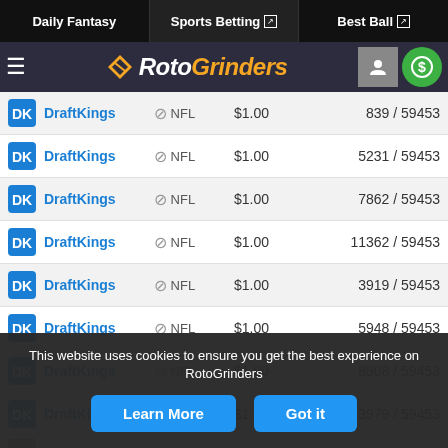Daily Fantasy | Sports Betting | Best Ball
[Figure (logo): RotoGrinders logo with hamburger menu, user icon, and dollar sign icon]
| Site | Sport | Price | Rank |
| --- | --- | --- | --- |
| DraftKings | NFL | $1.00 | 839 / 59453 |
| DraftKings | NFL | $1.00 | 5231 / 59453 |
| DraftKings | NFL | $1.00 | 7862 / 59453 |
| DraftKings | NFL | $1.00 | 11362 / 59453 |
| DraftKings | NFL | $1.00 | 3919 / 59453 |
| DraftKings | NFL | $1.00 | 5948 / 59453 |
| DraftKings | NFL | $1.00 | 8508 / 59453 |
| DraftKings | NFL | $1.00 | 13979 / 59453 |
This website uses cookies to ensure you get the best experience on RotoGrinders
Learn More | Got it